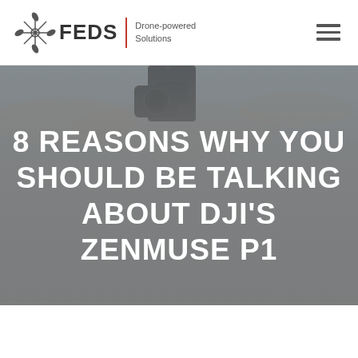FEDS | Drone-powered Solutions
[Figure (photo): Close-up photograph of a DJI drone camera/gimbal against a blurred outdoor background]
8 REASONS WHY YOU SHOULD BE TALKING ABOUT DJI'S ZENMUSE P1